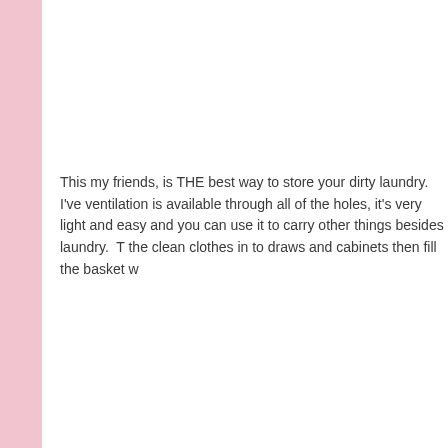This my friends, is THE best way to store your dirty laundry.  I've ventilation is available through all of the holes, it's very light and easy and you can use it to carry other things besides laundry.  T the clean clothes in to draws and cabinets then fill the basket w